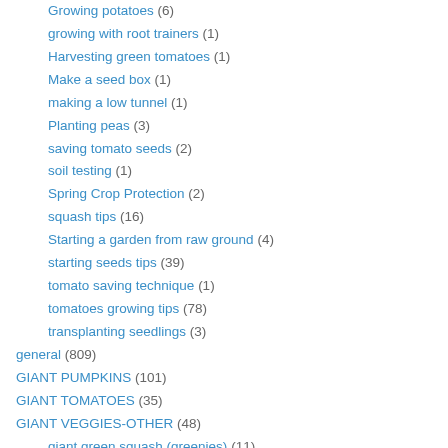Growing potatoes (6)
growing with root trainers (1)
Harvesting green tomatoes (1)
Make a seed box (1)
making a low tunnel (1)
Planting peas (3)
saving tomato seeds (2)
soil testing (1)
Spring Crop Protection (2)
squash tips (16)
Starting a garden from raw ground (4)
starting seeds tips (39)
tomato saving technique (1)
tomatoes growing tips (78)
transplanting seedlings (3)
general (809)
GIANT PUMPKINS (101)
GIANT TOMATOES (35)
GIANT VEGGIES-OTHER (48)
giant green squash (greenies) (11)